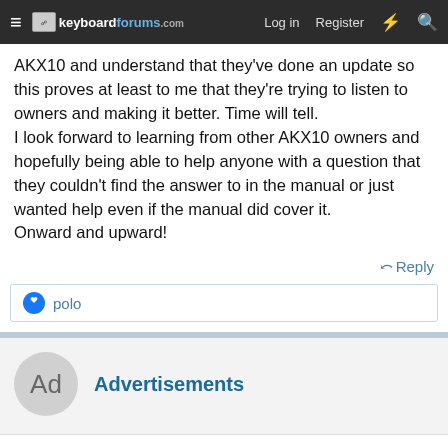keyboardforums.com — Log in  Register
AKX10 and understand that they've done an update so this proves at least to me that they're trying to listen to owners and making it better. Time will tell.
I look forward to learning from other AKX10 owners and hopefully being able to help anyone with a question that they couldn't find the answer to in the manual or just wanted help even if the manual did cover it.
Onward and upward!
Reply
polo
Advertisements